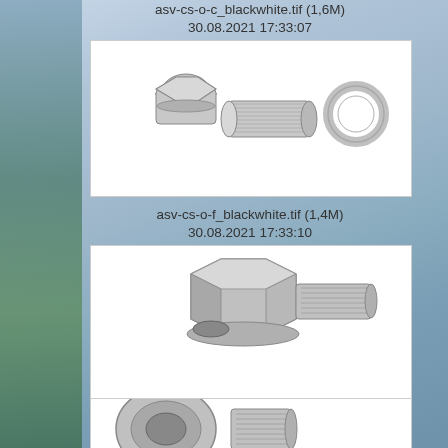asv-cs-o-c_blackwhite.tif (1,6M)
30.08.2021 17:33:07
[Figure (photo): Three-part pipe fitting assembly: hexagonal nut, threaded connector body, and sealing ring, shown in metallic chrome finish on white background]
asv-cs-o-f_blackwhite.tif (1,4M)
30.08.2021 17:33:10
[Figure (photo): Single pipe fitting/adapter with hexagonal body and threaded male connector end, shown in metallic chrome finish on white background]
asv-cs-o_blackwhite.tif (1,2M)
16.04.2021 12:31:04
[Figure (photo): Partial view of pipe fitting components shown at bottom of page, metallic chrome finish]